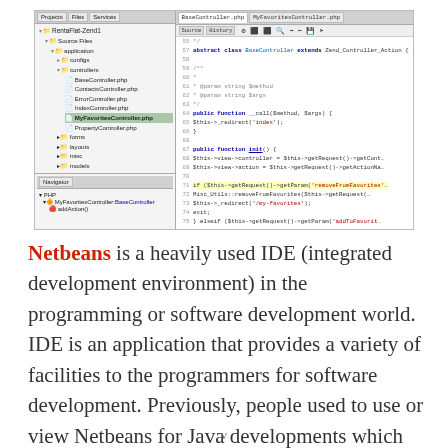[Figure (screenshot): Screenshot of NetBeans IDE showing a PHP project with a file tree on the left (RentaFlat-Zend1 project with controllers including MyFavoritesController.php highlighted) and code editor on the right showing BaseController.php and MyFavoritesController.php with PHP code]
Netbeans is a heavily used IDE (integrated development environment) in the programming or software development world. IDE is an application that provides a variety of facilities to the programmers for software development. Previously, people used to use or view Netbeans for Java developments which was tiresome since it was slow, but the current Netbeans is